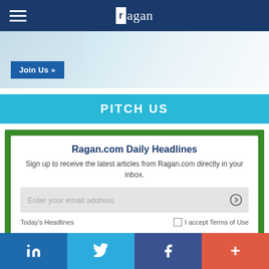ragan
[Figure (photo): Banner image with Join Us button on blue background]
PITCH US
Ragan.com Daily Headlines
Sign up to receive the latest articles from Ragan.com directly in your inbox.
Enter your email address
Today's Headlines
I accept Terms of Use
[Figure (infographic): Social media footer bar with LinkedIn, Twitter, Facebook, and plus icons]